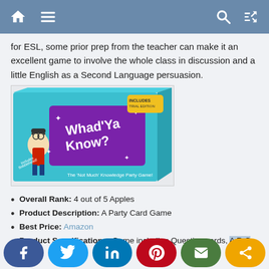navigation header with home, menu, search, shuffle icons
for ESL, some prior prep from the teacher can make it an excellent game to involve the whole class in discussion and a little English as a Second Language persuasion.
[Figure (photo): Product box photo of 'Whad'Ya Know?' party card game — turquoise box with purple and white lettering, cartoon character with headphones, bobblehead mention.]
Overall Rank: 4 out of 5 Apples
Product Description: A Party Card Game
Best Price: Amazon
Product Specifications: Game including Question cards, A R C